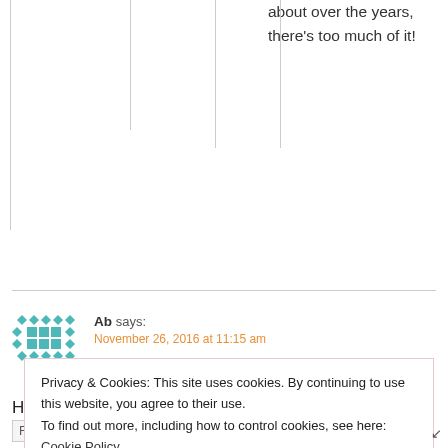about over the years, there's too much of it!
Ab says:
November 26, 2016 at 11:15 am
Hi Ellie, sorry I got the times wrong!!?
Privacy & Cookies: This site uses cookies. By continuing to use this website, you agree to their use.
To find out more, including how to control cookies, see here: Cookie Policy
Close and accept